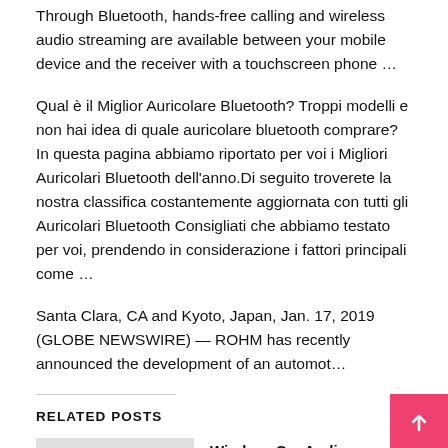Through Bluetooth, hands-free calling and wireless audio streaming are available between your mobile device and the receiver with a touchscreen phone …
Qual è il Miglior Auricolare Bluetooth? Troppi modelli e non hai idea di quale auricolare bluetooth comprare? In questa pagina abbiamo riportato per voi i Migliori Auricolari Bluetooth dell'anno.Di seguito troverete la nostra classifica costantemente aggiornata con tutti gli Auricolari Bluetooth Consigliati che abbiamo testato per voi, prendendo in considerazione i fattori principali come …
Santa Clara, CA and Kyoto, Japan, Jan. 17, 2019 (GLOBE NEWSWIRE) — ROHM has recently announced the development of an automot…
RELATED POSTS
Wireless Car Audio Receiver